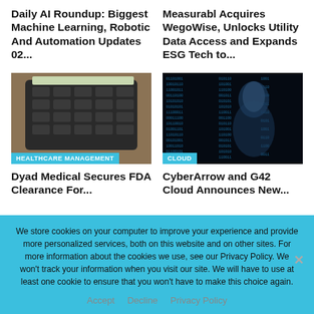Daily AI Roundup: Biggest Machine Learning, Robotic And Automation Updates 02...
Measurabl Acquires WegoWise, Unlocks Utility Data Access and Expands ESG Tech to...
[Figure (photo): Close-up photo of a calculator on a wooden surface, with category tag HEALTHCARE MANAGEMENT]
[Figure (photo): Digital art image of a woman's profile with blue matrix-style data streams, with category tag CLOUD]
Dyad Medical Secures FDA Clearance For...
CyberArrow and G42 Cloud Announces New...
We store cookies on your computer to improve your experience and provide more personalized services, both on this website and on other sites. For more information about the cookies we use, see our Privacy Policy. We won't track your information when you visit our site. We will have to use at least one cookie to ensure that you won't have to make this choice again.
Accept
Decline
Privacy Policy